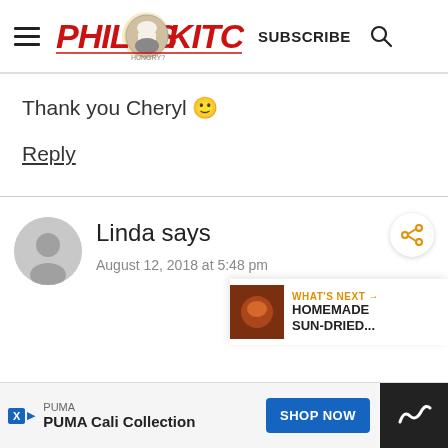[Figure (logo): Philo's Kitchen logo with red italic text and circular chef icon in the middle, navigation hamburger menu on the left, SUBSCRIBE text and search icon on the right]
Thank you Cheryl 🙂
Reply
Linda says
August 12, 2018 at 5:48 pm
[Figure (infographic): What's Next widget showing HOMEMADE SUN-DRIED... with a thumbnail image]
PUMA
PUMA Cali Collection
SHOP NOW